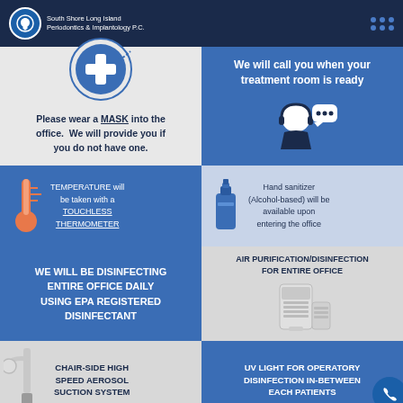South Shore Long Island Periodontics & Implantology P.C.
[Figure (infographic): Medical cross icon in blue circle]
Please wear a MASK into the office. We will provide you if you do not have one.
We will call you when your treatment room is ready
[Figure (illustration): Customer service agent icon with speech bubble]
[Figure (illustration): Thermometer icon]
TEMPERATURE will be taken with a TOUCHLESS THERMOMETER
[Figure (illustration): Hand sanitizer bottle icon]
Hand sanitizer (Alcohol-based) will be available upon entering the office
WE WILL BE DISINFECTING ENTIRE OFFICE DAILY USING EPA REGISTERED DISINFECTANT
AIR PURIFICATION/DISINFECTION FOR ENTIRE OFFICE
[Figure (photo): Air purification machine]
[Figure (illustration): Chair-side high speed aerosol suction system equipment]
CHAIR-SIDE HIGH SPEED AEROSOL SUCTION SYSTEM
UV LIGHT FOR OPERATORY DISINFECTION IN-BETWEEN EACH PATIENTS